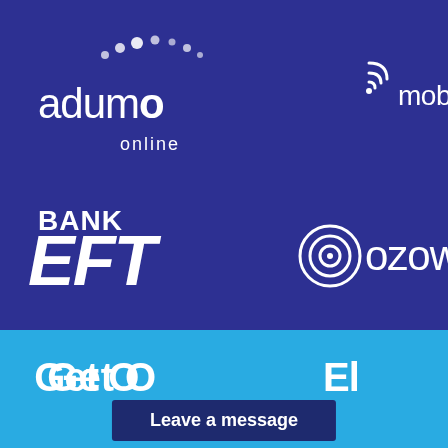[Figure (logo): Payment method logos on dark blue background: adumo online, mobicred, Mastercard and VISA in top row; BANK EFT and ozow in bottom row]
Get O... Complete El... Your
Leave a message